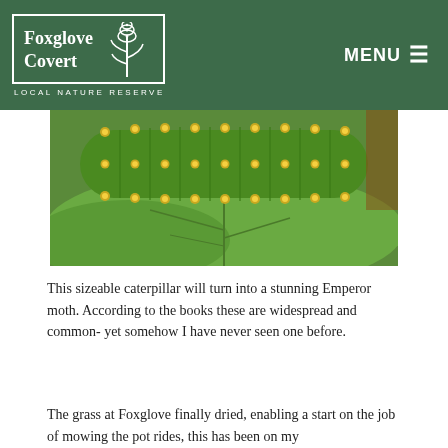Foxglove Covert LOCAL NATURE RESERVE | MENU
[Figure (photo): Close-up photo of a large green Emperor moth caterpillar covered in yellow-tipped spines/tubercles, resting on a large green leaf]
This sizeable caterpillar will turn into a stunning Emperor moth. According to the books these are widespread and common- yet somehow I have never seen one before.
The grass at Foxglove finally dried, enabling a start on the job of mowing the pot rides, this has been on my